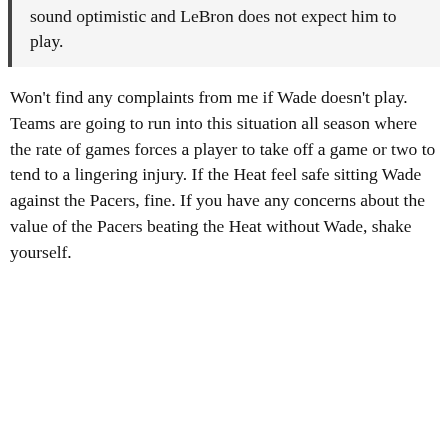sound optimistic and LeBron does not expect him to play.
Won't find any complaints from me if Wade doesn't play. Teams are going to run into this situation all season where the rate of games forces a player to take off a game or two to tend to a lingering injury. If the Heat feel safe sitting Wade against the Pacers, fine. If you have any concerns about the value of the Pacers beating the Heat without Wade, shake yourself.